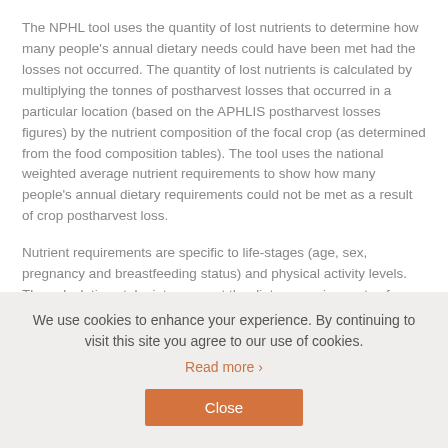The NPHL tool uses the quantity of lost nutrients to determine how many people's annual dietary needs could have been met had the losses not occurred. The quantity of lost nutrients is calculated by multiplying the tonnes of postharvest losses that occurred in a particular location (based on the APHLIS postharvest losses figures) by the nutrient composition of the focal crop (as determined from the food composition tables). The tool uses the national weighted average nutrient requirements to show how many people's annual dietary requirements could not be met as a result of crop postharvest loss.
Nutrient requirements are specific to life-stages (age, sex, pregnancy and breastfeeding status) and physical activity levels. The calculations take into account the dietary requirements of different groups of people (e.g., women of reproductive age,
We use cookies to enhance your experience. By continuing to visit this site you agree to our use of cookies.
Read more ›
Close